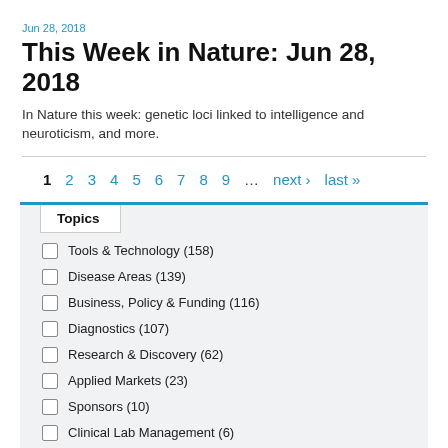Jun 28, 2018
This Week in Nature: Jun 28, 2018
In Nature this week: genetic loci linked to intelligence and neuroticism, and more.
1  2  3  4  5  6  7  8  9  …  next›  last»
Topics
Tools & Technology (158)
Disease Areas (139)
Business, Policy & Funding (116)
Diagnostics (107)
Research & Discovery (62)
Applied Markets (23)
Sponsors (10)
Clinical Lab Management (6)